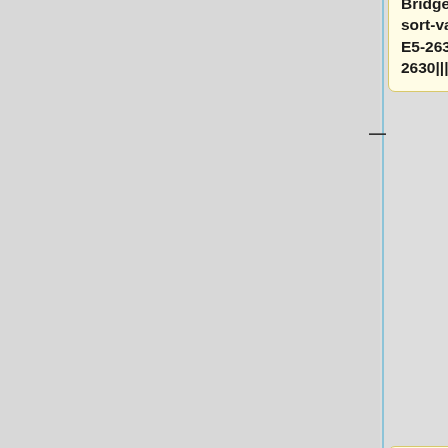Bridge"|Sandy Bridge||data-sort-value="2012, Intel Xeon E5-2630"|Intel Xeon E5-2630|||||||||240||||||||||'''240'''
|-
|data-sort-value="2012, Sandy Bridge"|Sandy Bridge||data-sort-value="2012, Intel Xeon E5-2650"|Intel Xeon E5-2650||||||||||64||||||||||64|||